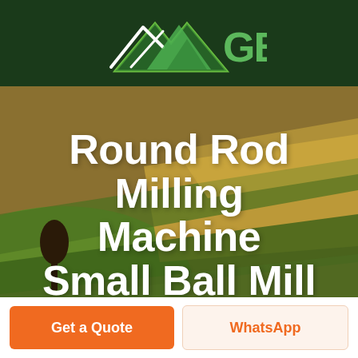[Figure (logo): GBM company logo with green mountain/arrow graphic and green GBM text on dark green background header]
[Figure (screenshot): Green navigation bar with hamburger menu icon and blue/purple live chat bubble saying LIVE CHAT]
Round Rod Milling Machine Small Ball Mill Ball Mill Machine
[Figure (photo): Aerial photograph of rolling farmland with green and golden fields, a lone tree silhouette on the left side, used as hero background image]
Get a Quote
WhatsApp